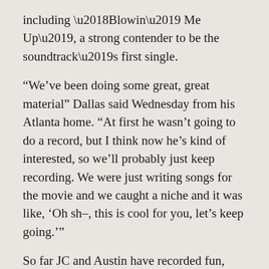including ‘Blowin’ Me Up’, a strong contender to be the soundtrack’s first single.
“We’ve been doing some great, great material” Dallas said Wednesday from his Atlanta home. “At first he wasn’t going to do a record, but I think now he’s kind of interested, so we’ll probably just keep recording. We were just writing songs for the movie and we caught a niche and it was like, ‘Oh sh–, this is cool for you, let’s keep going.’”
So far JC and Austin have recorded fun, fast-paced songs and mid-tempo ballads.
“It’s back to George Michael and Prince and that ’80s era, where even though you had up-tempos, they still had songs to them, they had a lot of attitude” Dallas Austin explained. “It was a trip because we didn’t